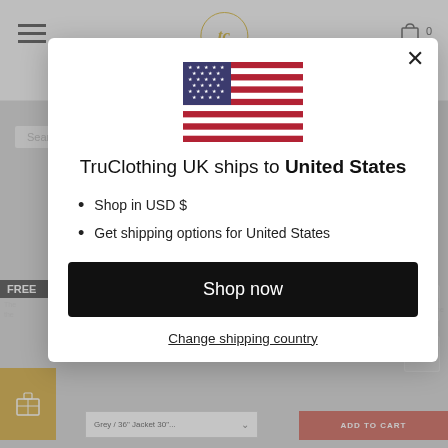[Figure (screenshot): TruClothing website background showing header with hamburger menu, logo, cart, search bar, and promotional content, partially obscured by modal overlay]
[Figure (illustration): United States flag (stars and stripes) displayed in the modal dialog]
TruClothing UK ships to United States
Shop in USD $
Get shipping options for United States
Shop now
Change shipping country